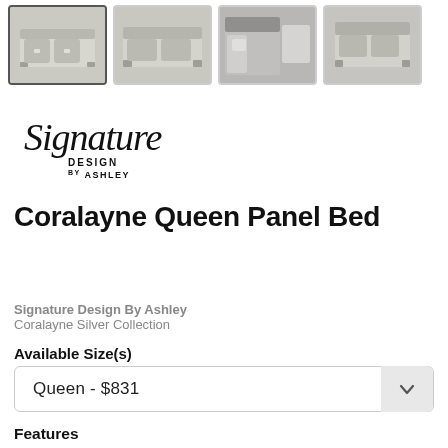[Figure (photo): Four thumbnail images of a queen panel bed in silver/metallic finish, shown from different angles]
[Figure (logo): Signature Design by Ashley logo in black cursive and sans-serif text]
Coralayne Queen Panel Bed
Signature Design By Ashley
Coralayne Silver Collection
Available Size(s)
Queen  -  $831
Features
Made of veneers, wood and engineered wood
Includes headboard, footboard and rails
Metallic sheen finish
Button-tufted polyester upholstery